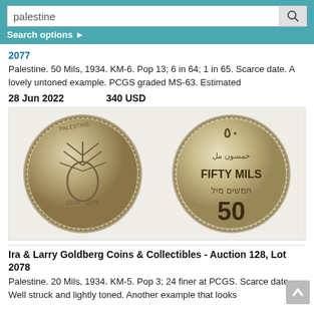palestine [search bar with Search options]
2077
Palestine. 50 Mils, 1934. KM-6. Pop 13; 6 in 64; 1 in 65. Scarce date. A lovely untoned example. PCGS graded MS-63. Estimated
28 Jun 2022    340 USD
[Figure (photo): Two sides of a Palestine 50 Mils 1934 silver coin. Left: obverse with plant/lily design and 'PALESTINE' inscription, dated 1934. Right: reverse showing '50', 'FIFTY MILS' in English, Arabic text, and Hebrew text.]
Ira & Larry Goldberg Coins & Collectibles - Auction 128, Lot 2078
Palestine. 20 Mils, 1934. KM-5. Pop 3; 24 finer at PCGS. Scarce date. Well struck and lightly toned. Another example that looks